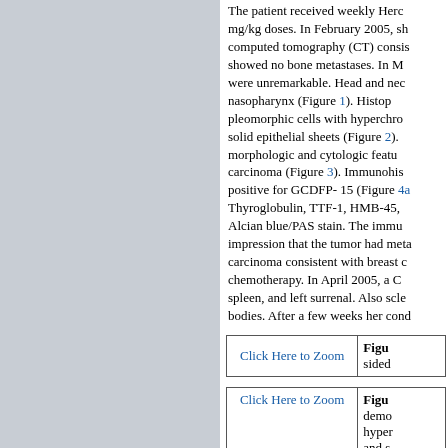The patient received weekly Herceptin at 2 mg/kg doses. In February 2005, she had a computed tomography (CT) consisting that showed no bone metastases. In March they were unremarkable. Head and neck revealed nasopharynx (Figure 1). Histop pleomorphic cells with hyperchromatic solid epithelial sheets (Figure 2). morphologic and cytologic features carcinoma (Figure 3). Immunohis positive for GCDFP-15 (Figure 4a Thyroglobulin, TTF-1, HMB-45, Alcian blue/PAS stain. The immu impression that the tumor had metastatic carcinoma consistent with breast c chemotherapy. In April 2005, a C spleen, and left surrenal. Also scle bodies. After a few weeks her cond
[Figure (other): Click Here to Zoom link for Figure with caption 'Figu... sided']
[Figure (other): Click Here to Zoom link for Figure with caption 'Figu... demo hyper and s']